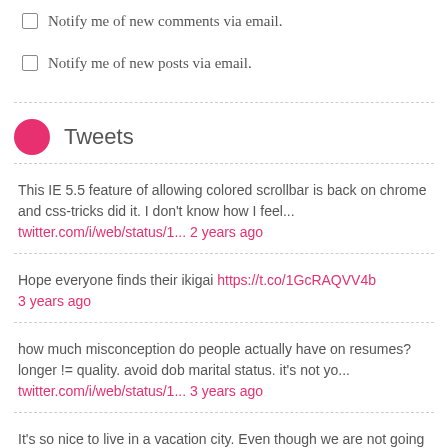Notify me of new comments via email.
Notify me of new posts via email.
Tweets
This IE 5.5 feature of allowing colored scrollbar is back on chrome and css-tricks did it. I don't know how I feel... twitter.com/i/web/status/1... 2 years ago
Hope everyone finds their ikigai https://t.co/1GcRAQVV4b 3 years ago
how much misconception do people actually have on resumes? longer != quality. avoid dob marital status. it's not yo... twitter.com/i/web/status/1... 3 years ago
It's so nice to live in a vacation city. Even though we are not going